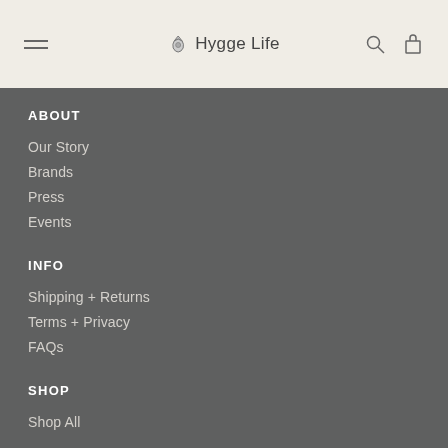Hygge Life
ABOUT
Our Story
Brands
Press
Events
INFO
Shipping + Returns
Terms + Privacy
FAQs
SHOP
Shop All